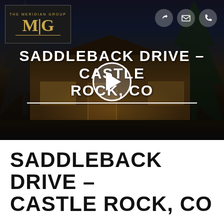[Figure (photo): Night-time photo of a luxury home at Saddleback Drive, Castle Rock CO, with warm lighting, trees, stone facade, and a play button overlay. The Meridian Group logo is in the top-left. Share, email, and phone icons are in the top-right.]
SADDLEBACK DRIVE – CASTLE ROCK, CO